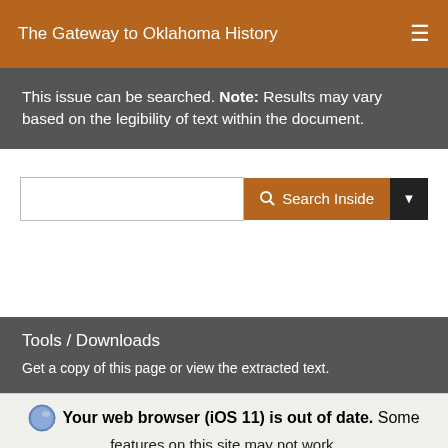The Gateway to Oklahoma History
This issue can be searched. Note: Results may vary based on the legibility of text within the document.
[Figure (screenshot): Search input bar with orange Search Inside button and dark dropdown arrow]
Tools / Downloads
Get a copy of this page or view the extracted text.
Your web browser (iOS 11) is out of date. Some features on this site may not work. Update browser / Ignore